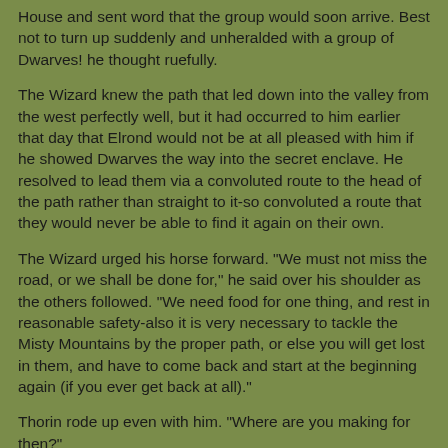House and sent word that the group would soon arrive. Best not to turn up suddenly and unheralded with a group of Dwarves! he thought ruefully.
The Wizard knew the path that led down into the valley from the west perfectly well, but it had occurred to him earlier that day that Elrond would not be at all pleased with him if he showed Dwarves the way into the secret enclave. He resolved to lead them via a convoluted route to the head of the path rather than straight to it-so convoluted a route that they would never be able to find it again on their own.
The Wizard urged his horse forward. "We must not miss the road, or we shall be done for," he said over his shoulder as the others followed. "We need food for one thing, and rest in reasonable safety-also it is very necessary to tackle the Misty Mountains by the proper path, or else you will get lost in them, and have to come back and start at the beginning again (if you ever get back at all)."
Thorin rode up even with him. "Where are you making for then?"
"You are come to the very edge of the Wild, as some of you may know. Hidden somewhere ahead of us is the fair valley of Rivendell where Elrond lives in the Last Homely House. I sent a message by my friends, and we are expected."
It took the better part of the day to get near the area where the entrance to Rivendell lay. Gandalf led the group astray, backtracked, set out in the wrong direction again, and turned repeatedly, until he felt that none of the Dwarves would possibly be able to retrace the path they had followed. Finally he was feeling as